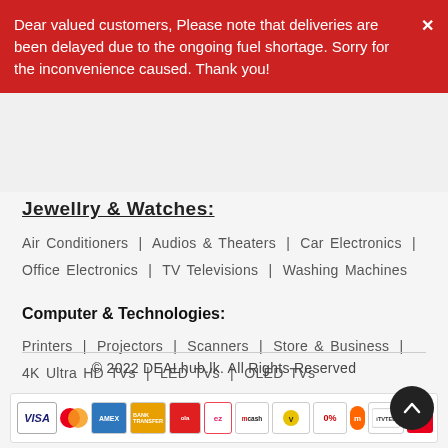Dear valued customers, Please note that deliveries are been delayed due to the ongoing fuel shortage. Sorry for the inconvenience caused. Thank you!
Jewellry & Watches:
Air Conditioners | Audios & Theaters | Car Electronics | Office Electronics | TV Televisions | Washing Machines
Computer & Technologies:
Printers | Projectors | Scanners | Store & Business | 4K Ultra HD TVs | LED TVs | OLED TVs
© 2022 DEALhub.lk. All Rights Reserved
[Figure (other): Payment method logos strip: VISA, Mastercard, American Express, Bank Transfer, and several other local payment options]